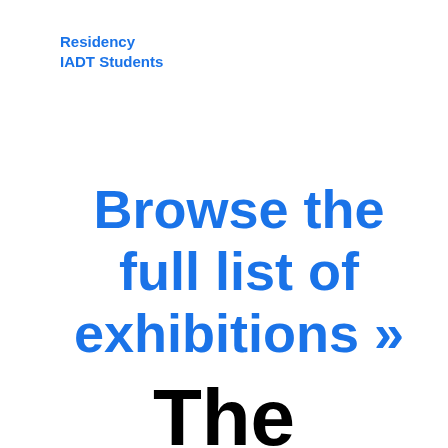Residency
IADT Students
Browse the full list of exhibitions »
The